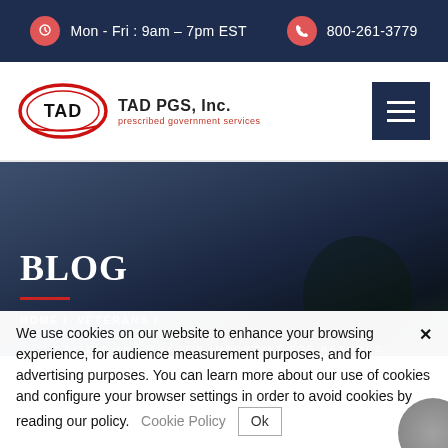Mon - Fri : 9am – 7pm EST   800-261-3779
[Figure (logo): TAD PGS, Inc. logo with red oval and company name]
Blog
HOME / VETERANS /
SIZZLE AND WHY IT'S IMPORTANT FOR RESUMES
We use cookies on our website to enhance your browsing experience, for audience measurement purposes, and for advertising purposes. You can learn more about our use of cookies and configure your browser settings in order to avoid cookies by reading our policy.   Cookie Policy   Ok